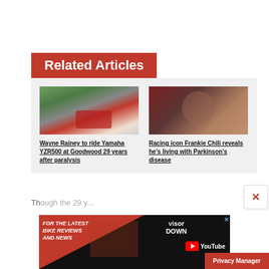Related Articles
[Figure (photo): Motorcycle racer leaning on red and white bike at speed on a track]
Wayne Rainey to ride Yamaha YZR500 at Goodwood 29 years after paralysis
[Figure (photo): Close-up portrait of a middle-aged man with dark hair against a dark red background]
Racing icon Frankie Chili reveals he's living with Parkinson's disease
[Figure (infographic): Advertisement banner: FOR THE LATEST BIKE REVIEWS AND NEWS — Visordown YouTube]
Privacy Manager